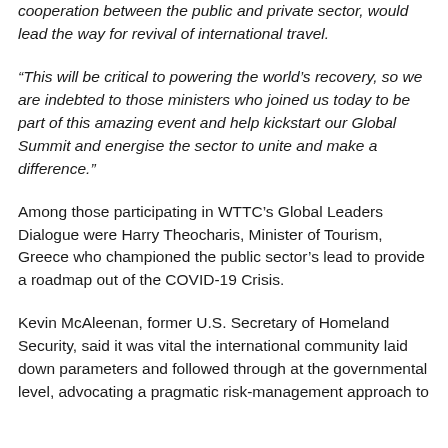cooperation between the public and private sector, would lead the way for revival of international travel.
“This will be critical to powering the world’s recovery, so we are indebted to those ministers who joined us today to be part of this amazing event and help kickstart our Global Summit and energise the sector to unite and make a difference.”
Among those participating in WTTC’s Global Leaders Dialogue were Harry Theocharis, Minister of Tourism, Greece who championed the public sector’s lead to provide a roadmap out of the COVID-19 Crisis.
Kevin McAleenan, former U.S. Secretary of Homeland Security, said it was vital the international community laid down parameters and followed through at the governmental level, advocating a pragmatic risk-management approach to